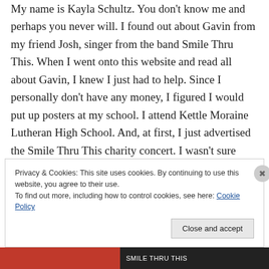My name is Kayla Schultz. You don't know me and perhaps you never will. I found out about Gavin from my friend Josh, singer from the band Smile Thru This. When I went onto this website and read all about Gavin, I knew I just had to help. Since I personally don't have any money, I figured I would put up posters at my school. I attend Kettle Moraine Lutheran High School. And, at first, I just advertised the Smile Thru This charity concert. I wasn't sure how many people would respond, since our school is involved in
Privacy & Cookies: This site uses cookies. By continuing to use this website, you agree to their use.
To find out more, including how to control cookies, see here: Cookie Policy
Close and accept